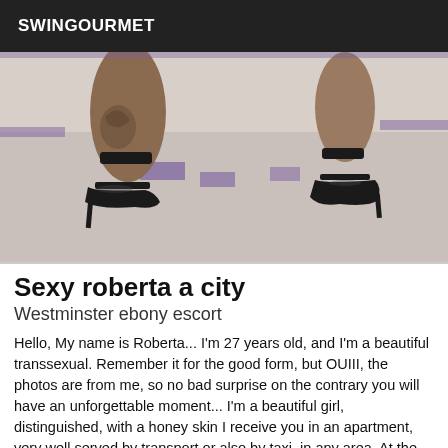SWINGOURMET
[Figure (photo): Close-up photo of two pairs of feet wearing black high-heeled strappy sandals, tattooed ankles on the left, on a grey floor with purple accents in the background.]
Sexy roberta a city
Westminster ebony escort
Hello, My name is Roberta... I'm 27 years old, and I'm a beautiful transsexual. Remember it for the good form, but OUIII, the photos are from me, so no bad surprise on the contrary you will have an unforgettable moment... I'm a beautiful girl, distinguished, with a honey skin I receive you in an apartment, very well served by transport or also by taxi, in any area. At the time of a very close